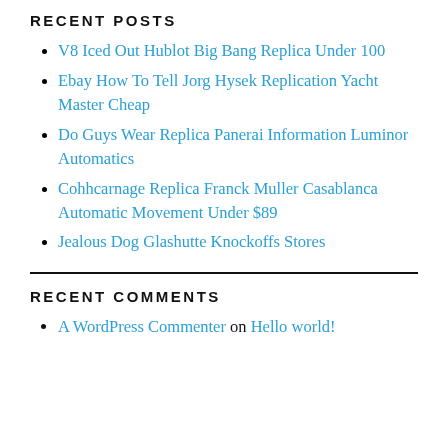RECENT POSTS
V8 Iced Out Hublot Big Bang Replica Under 100
Ebay How To Tell Jorg Hysek Replication Yacht Master Cheap
Do Guys Wear Replica Panerai Information Luminor Automatics
Cohhcarnage Replica Franck Muller Casablanca Automatic Movement Under $89
Jealous Dog Glashutte Knockoffs Stores
RECENT COMMENTS
A WordPress Commenter on Hello world!